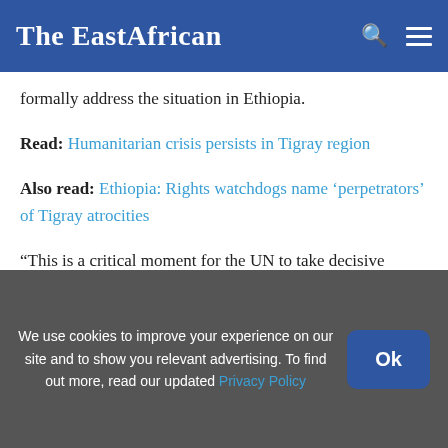The EastAfrican
formally address the situation in Ethiopia.
Read: Humanitarian crisis persists in Tigray region
Also read: Ethiopia: Rights watchdogs name 'perpetrators' of Tigray atrocities
“This is a critical moment for the UN to take decisive action that leverages these openings to
We use cookies to improve your experience on our site and to show you relevant advertising. To find out more, read our updated Privacy Policy